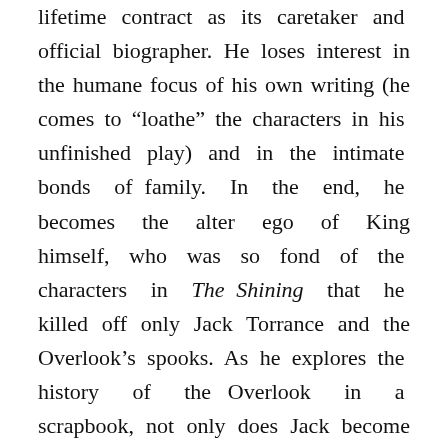lifetime contract as its caretaker and official biographer. He loses interest in the humane focus of his own writing (he comes to “loathe” the characters in his unfinished play) and in the intimate bonds of family. In the end, he becomes the alter ego of King himself, who was so fond of the characters in The Shining that he killed off only Jack Torrance and the Overlook’s spooks. As he explores the history of the Overlook in a scrapbook, not only does Jack become absorbed into its demonic past, but his madness resuscitates both its ghouls and his father’s legacy. Thematically, King suggests that this symbiotic link between hotel and man represents America’s secret longing for a timeless escape (like the revelers in Poe’s story), where the complex moral demands of the so-